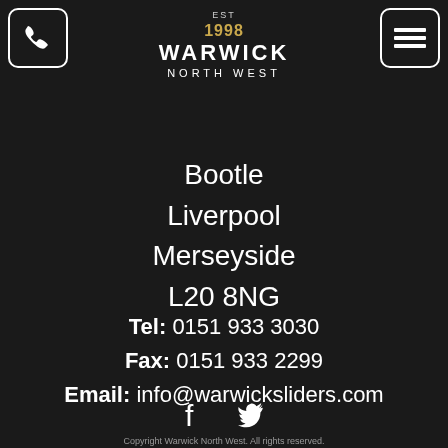[Figure (logo): Phone icon in rounded square border, top left]
[Figure (logo): Warwick North West logo with EST 1998 in gold, centered top]
[Figure (logo): Hamburger menu icon in rounded square border, top right]
Bootle
Liverpool
Merseyside
L20 8NG
Tel: 0151 933 3030
Fax: 0151 933 2299
Email: info@warwicksliders.com
[Figure (illustration): Facebook and Twitter social media icons centered]
Copyright Warwick North West. All rights reserved.